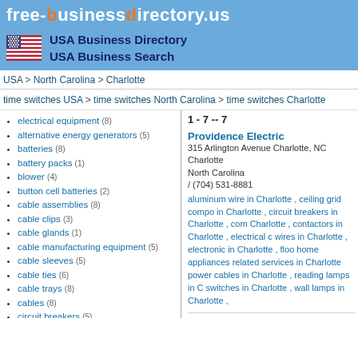free-businessdirectory.us
[Figure (logo): USA flag with USA Business Directory and USA Business Search text on blue background]
USA > North Carolina > Charlotte
time switches USA > time switches North Carolina > time switches Charlotte
electrical equipment (8)
alternative energy generators (5)
batteries (8)
battery packs (1)
blower (4)
button cell batteries (2)
cable assemblies (8)
cable clips (3)
cable glands (1)
cable manufacturing equipment (5)
cable sleeves (5)
cable ties (6)
cable trays (8)
cables (8)
circuit breakers (5)
contactors (8)
control cables (7)
converters (2)
diesel generators (3)
dip switches (6)
drill bit (3)
1 - 7 -- 7
Providence Electric
315 Arlington Avenue Charlotte, NC
Charlotte
North Carolina
/ (704) 531-8881
aluminum wire in Charlotte , ceiling grid components in Charlotte , circuit breakers in Charlotte , com Charlotte , contactors in Charlotte , electrical c wires in Charlotte , electronic in Charlotte , floo home appliances related services in Charlotte power cables in Charlotte , reading lamps in C switches in Charlotte , wall lamps in Charlotte
Accent Heating & Cooling LLC
8425 Old Statesville Road #1 Charlotte, NC
Charlotte
North Carolina
/ (704) 509-1200
air conditioner parts in Charlotte , air conditione cooling system in Charlotte , currency detector saving equipment parts in Charlotte , heat dete water heater parts in Charlotte , home heate